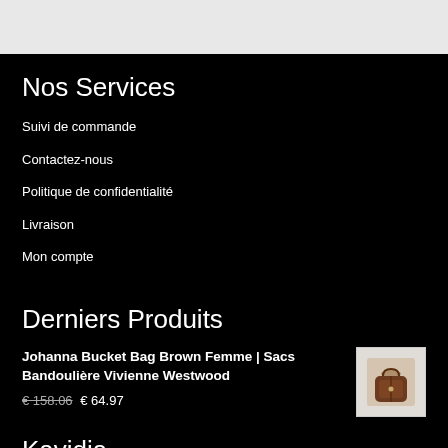Nos Services
Suivi de commande
Contactez-nous
Politique de confidentialité
Livraison
Mon compte
Derniers Produits
Johanna Bucket Bag Brown Femme | Sacs Bandoulière Vivienne Westwood € 158.06 € 64.97
[Figure (photo): Small product photo of a brown Johanna Bucket Bag on a light background]
Kavidia